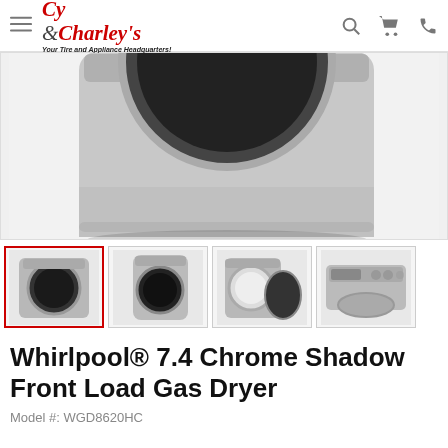Cy & Charley's — Your Tire and Appliance Headquarters!
[Figure (photo): Large product photo of Whirlpool Chrome Shadow Front Load Gas Dryer showing top portion of the appliance from above, silver/chrome color]
[Figure (photo): Thumbnail 1 (active/selected): Front view of Whirlpool Chrome Shadow Front Load Gas Dryer, silver color with dark circular door]
[Figure (photo): Thumbnail 2: Side/angle view of the dryer]
[Figure (photo): Thumbnail 3: Front view with door open]
[Figure (photo): Thumbnail 4: Top/control panel view]
Whirlpool® 7.4 Chrome Shadow Front Load Gas Dryer
Model #: WGD8620HC